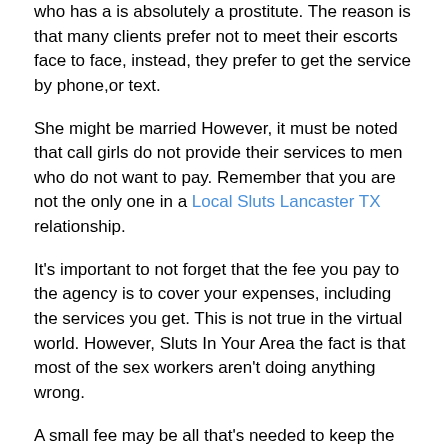who has a is absolutely a prostitute. The reason is that many clients prefer not to meet their escorts face to face, instead, they prefer to get the service by phone,or text.
She might be married However, it must be noted that call girls do not provide their services to men who do not want to pay. Remember that you are not the only one in a Local Sluts Lancaster TX relationship.
It's important to not forget that the fee you pay to the agency is to cover your expenses, including the services you get. This is not true in the virtual world. However, Sluts In Your Area the fact is that most of the sex workers aren't doing anything wrong.
A small fee may be all that's needed to keep the agency running smoothly. You've just gotten out of a serious relationship and now you've decided to try a casual adult